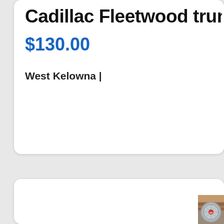Cadillac Fleetwood trunk
$130.00
West Kelowna |
[Figure (photo): Vintage GE (General Electric) electric fan, gray/silver metal, circular wire guard with cross braces and GE logo badge in center, photographed in what appears to be an attic or garage with exposed wood framing and stone/brick wall in background.]